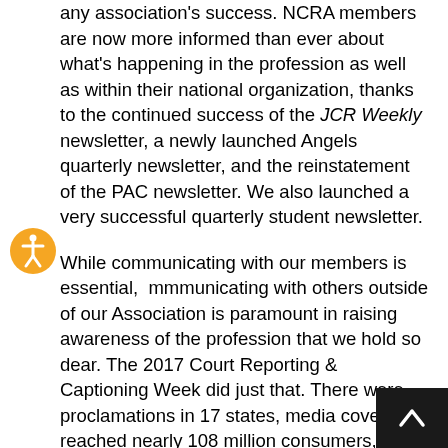any association's success. NCRA members are now more informed than ever about what's happening in the profession as well as within their national organization, thanks to the continued success of the JCR Weekly newsletter, a newly launched Angels quarterly newsletter, and the reinstatement of the PAC newsletter. We also launched a very successful quarterly student newsletter.
While communicating with our members is essential, communicating with others outside of our Association is paramount in raising awareness of the profession that we hold so dear. The 2017 Court Reporting & Captioning Week did just that. There were proclamations in 17 states, media coverage reached nearly 108 million consumers, media outreach generated $167,100 in public relations value, U.S. Representative Ron Kind from the great state of Wisconsin officially recognized the week in a speech before the U.S. House of Representatives on Feb. 14, and the first NCRF Hard-of-Hearing Heroes Project event